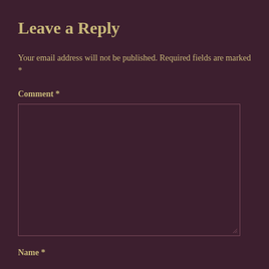Leave a Reply
Your email address will not be published. Required fields are marked *
Comment *
[Figure (other): Empty comment textarea input box with resize handle in bottom-right corner]
Name *